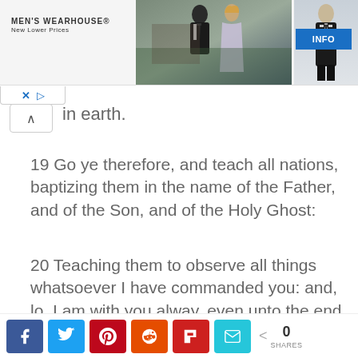[Figure (photo): Men's Wearhouse advertisement banner showing a couple in formal wear and a man in a tuxedo with an INFO button]
in earth.
19 Go ye therefore, and teach all nations, baptizing them in the name of the Father, and of the Son, and of the Holy Ghost:
20 Teaching them to observe all things whatsoever I have commanded you: and, lo, I am with you alway, even unto the end of the world. Amen.
Mark 16
[Figure (infographic): Social share bar with Facebook, Twitter, Pinterest, Reddit, Flipboard, and email buttons, showing 0 SHARES]